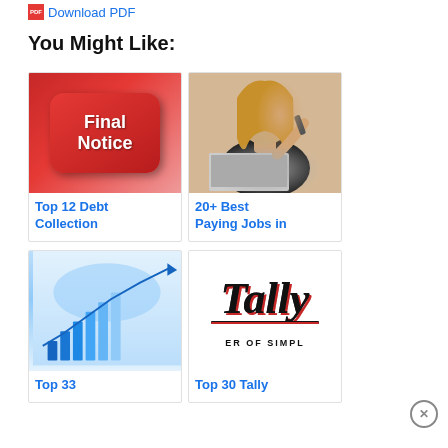Download PDF
You Might Like:
[Figure (illustration): Red keyboard key with text 'Final Notice' in white bold font]
Top 12 Debt Collection
[Figure (photo): Woman working at desk with laptop, reviewing documents]
20+ Best Paying Jobs in
[Figure (illustration): Finance themed image with bar charts, world map, and blue tones]
Top 33
[Figure (logo): Tally logo with cursive script and tagline 'ER OF SIMPL']
Top 30 Tally